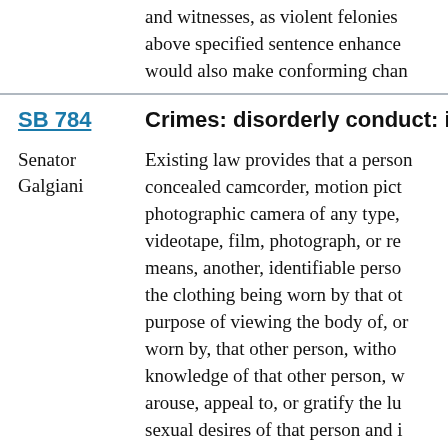and witnesses, as violent felonies above specified sentence enhance would also make conforming chan
SB 784
Crimes: disorderly conduct: invasi
Senator Galgiani
Existing law provides that a person concealed camcorder, motion pict photographic camera of any type, videotape, film, photograph, or re means, another, identifiable perso the clothing being worn by that ot purpose of viewing the body of, or worn by, that other person, witho knowledge of that other person, w arouse, appeal to, or gratify the lu sexual desires of that person and i that other person, under circumst